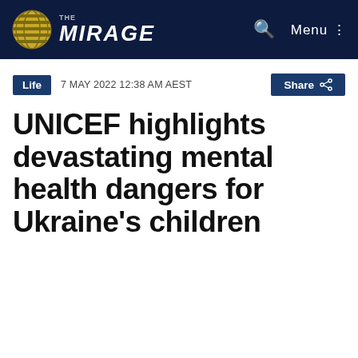THE MIRAGE
Life  7 MAY 2022 12:38 AM AEST  Share
UNICEF highlights devastating mental health dangers for Ukraine’s children